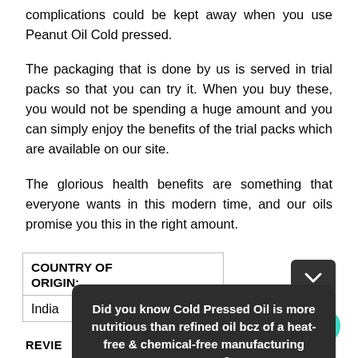complications could be kept away when you use Peanut Oil Cold pressed.
The packaging that is done by us is served in trial packs so that you can try it. When you buy these, you would not be spending a huge amount and you can simply enjoy the benefits of the trial packs which are available on our site.
The glorious health benefits are something that everyone wants in this modern time, and our oils promise you this in the right amount.
| COUNTRY OF ORIGIN: |
| --- |
| India |
Did you know Cold Pressed Oil is more nutritious than refined oil bcz of a heat-free & chemical-free manufacturing process?
Reply
REVIE